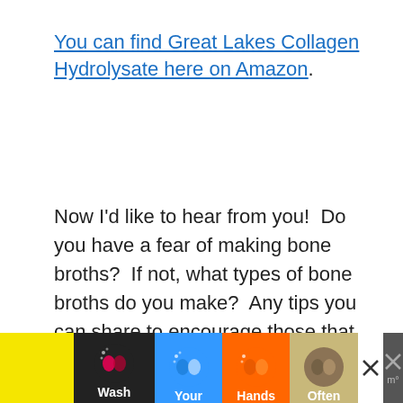You can find Great Lakes Collagen Hydrolysate here on Amazon.
Now I'd like to hear from you!  Do you have a fear of making bone broths?  If not, what types of bone broths do you make?  Any tips you can share to encourage those that feel a bit queasy about making it?
[Figure (illustration): Pinterest 'Pin it' button graphic — red rounded rectangle with white script text reading 'Pinit', partially visible at bottom of content area]
[Figure (infographic): Advertisement banner at bottom: black bar with yellow section on left, then four tiles showing hand-washing icons with colored backgrounds (blue, orange, khaki/brown) and words 'Wash', 'Your', 'Hands', 'Often', followed by a close X button and a dark gray section with X and thermometer icon]